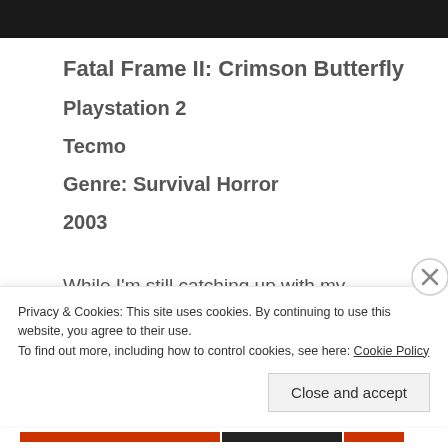[Figure (photo): Dark screenshot or header image from Fatal Frame II: Crimson Butterfly game]
Fatal Frame II: Crimson Butterfly
Playstation 2
Tecmo
Genre: Survival Horror
2003
While I'm still catching up with my batch of games from the Halloween season last year, it's
Privacy & Cookies: This site uses cookies. By continuing to use this website, you agree to their use.
To find out more, including how to control cookies, see here: Cookie Policy
Close and accept